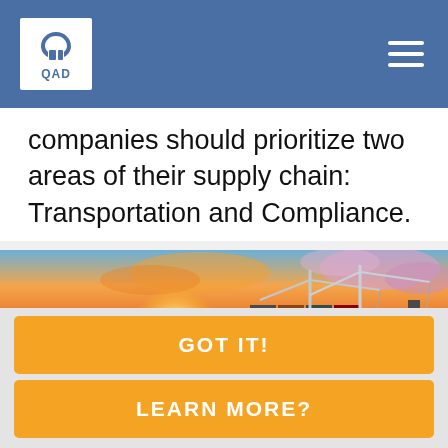QAD
companies should prioritize two areas of their supply chain: Transportation and Compliance.
[Figure (photo): A large container ship at a port terminal at sunset, with cranes and stacked cargo containers visible against an orange and pink sky.]
GOT IT!
LEARN MORE?
To provide the best experience for our users, this website uses cookies.